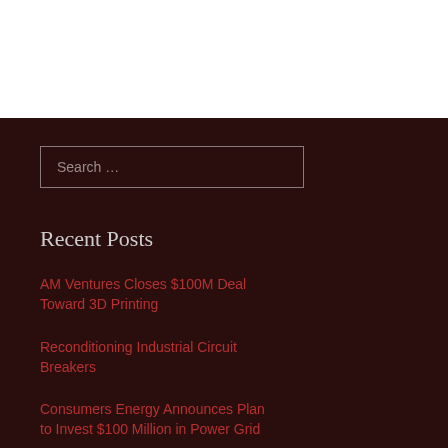Search …
Recent Posts
AM Ventures Closes $100M Deal Toward 3D Printing
Reconditioning Industrial Circuit Breakers
Consumers Energy Announces Plan to Invest $100 Million in Power Grid
Bus Duct 101